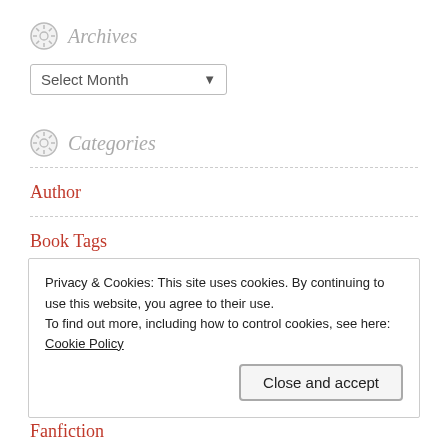Archives
Select Month
Categories
Author
Book Tags
Characters
Children's Literature
Privacy & Cookies: This site uses cookies. By continuing to use this website, you agree to their use.
To find out more, including how to control cookies, see here: Cookie Policy
Close and accept
Fanfiction